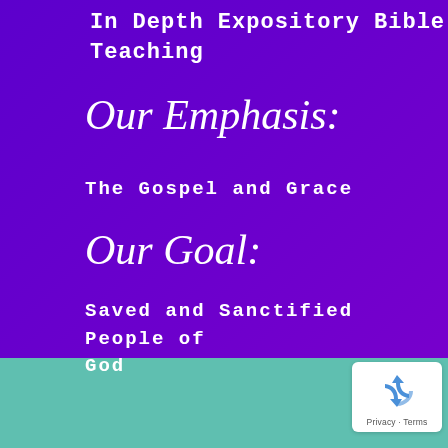In Depth Expository Bible Teaching
Our Emphasis:
The Gospel and Grace
Our Goal:
Saved and Sanctified People of God
[Figure (logo): reCAPTCHA badge with recycling-arrow icon and Privacy - Terms text]